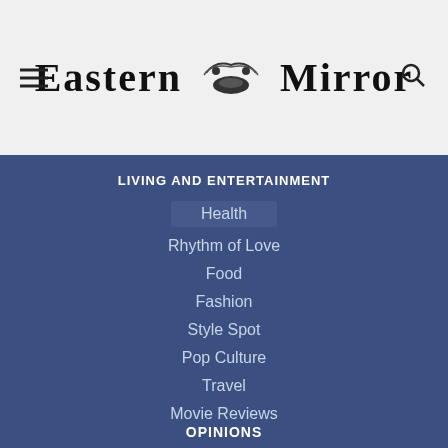Eastern Mirror
LIVING AND ENTERTAINMENT
Health
Rhythm of Love
Food
Fashion
Style Spot
Pop Culture
Travel
Movie Reviews
OPINIONS